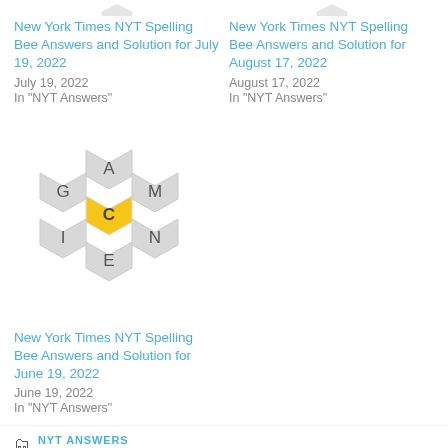[Figure (other): Partial honeycomb hexagon icon at top left (cropped)]
[Figure (other): Partial honeycomb hexagon icon at top right (cropped)]
New York Times NYT Spelling Bee Answers and Solution for July 19, 2022
July 19, 2022
In "NYT Answers"
New York Times NYT Spelling Bee Answers and Solution for August 17, 2022
August 17, 2022
In "NYT Answers"
[Figure (illustration): NYT Spelling Bee honeycomb puzzle with letters A (top), G (left), M (right), C (center, yellow), I (bottom-left), N (bottom-right), E (bottom)]
New York Times NYT Spelling Bee Answers and Solution for June 19, 2022
June 19, 2022
In "NYT Answers"
NYT ANSWERS
ARMCHAIR, CAMI, CHARM, CRAM, HAMARTIA, HARAM, HARM, IMAM, MAHATMA, MAHIMAHI, MAIM, MAMA, MAMMA, MARACA, MARCH, MARIACHI, MARM, MART,